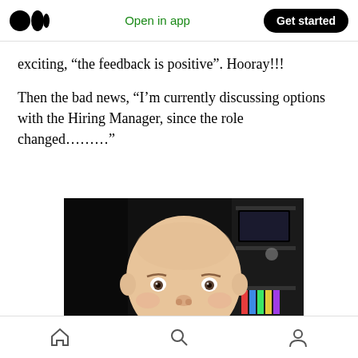Medium app header with logo, Open in app, Get started button
exciting, “the feedback is positive”. Hooray!!!
Then the bad news, “I’m currently discussing options with the Hiring Manager, since the role changed………”
[Figure (photo): A baby with a frowning/displeased expression looking at the camera, set against a dark background with shelves visible on the right side.]
Home, Search, Profile navigation icons